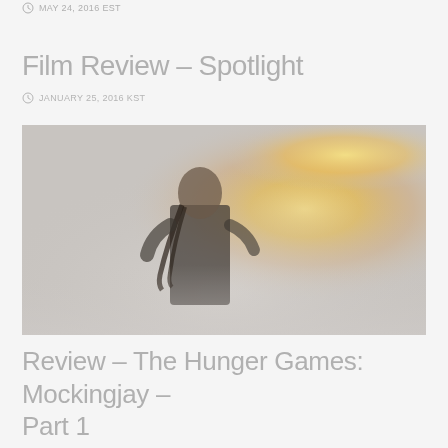MAY 24, 2016 EST
Film Review – Spotlight
JANUARY 25, 2016 KST
[Figure (photo): A woman with braided hair in dark clothing standing in smoky conditions with a bright orange-yellow explosion or fire visible behind her, a scene from The Hunger Games: Mockingjay – Part 1]
Review – The Hunger Games: Mockingjay – Part 1